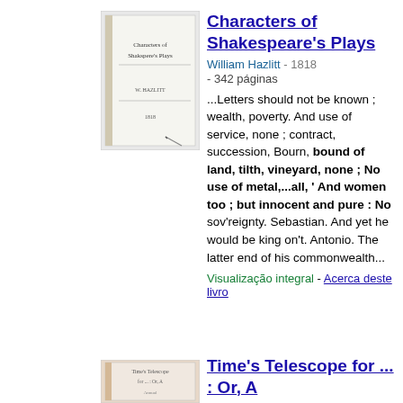[Figure (illustration): Thumbnail of book cover for Characters of Shakespeare's Plays]
Characters of Shakespeare's Plays
William Hazlitt - 1818
- 342 páginas
...Letters should not be known ; wealth, poverty. And use of service, none ; contract, succession, Bourn, bound of land, tilth, vineyard, none ; No use of metal,...all, ' And women too ; but innocent and pure : No sov'reignty. Sebastian. And yet he would be king on't. Antonio. The latter end of his commonwealth...
Visualização integral - Acerca deste livro
[Figure (illustration): Thumbnail of book cover for Time's Telescope]
Time's Telescope for ... : Or, A